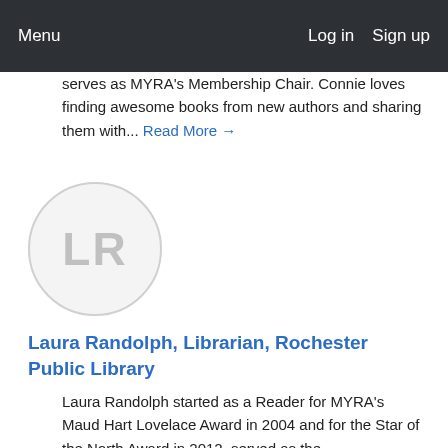Menu   Log in   Sign up
serves as MYRA's Membership Chair. Connie loves finding awesome books from new authors and sharing them with... Read More →
[Figure (illustration): Circular avatar with initials LR in light gray on light gray background]
Laura Randolph, Librarian, Rochester Public Library
Laura Randolph started as a Reader for MYRA's Maud Hart Lovelace Award in 2004 and for the Star of the North Award in 2012, served as the